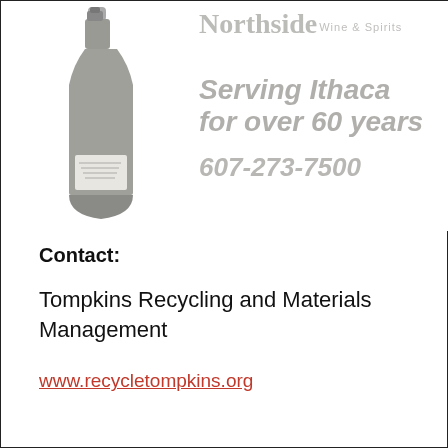[Figure (photo): Advertisement for Northside Wine & Spirits showing a champagne/wine bottle on the left with text 'Northside Wine & Spirits', 'Serving Ithaca for over 60 years', and phone number '607-273-7500' in gray italic text on white background.]
Contact:
Tompkins Recycling and Materials Management
www.recycletompkins.org